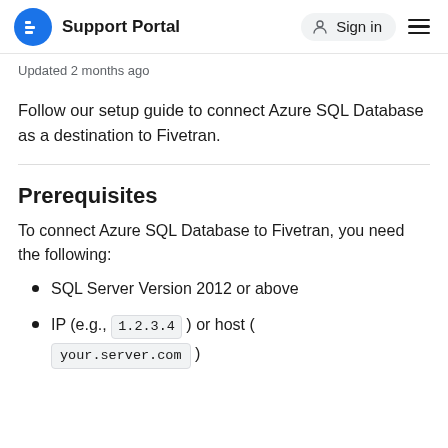Support Portal | Sign in
Updated 2 months ago
Follow our setup guide to connect Azure SQL Database as a destination to Fivetran.
Prerequisites
To connect Azure SQL Database to Fivetran, you need the following:
SQL Server Version 2012 or above
IP (e.g., 1.2.3.4 ) or host ( your.server.com )